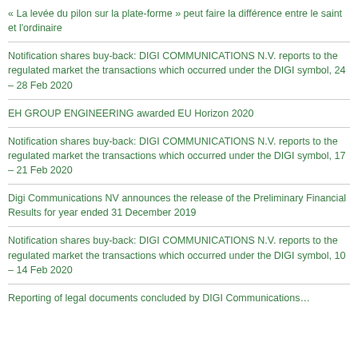« La levée du pilon sur la plate-forme » peut faire la différence entre le saint et l'ordinaire
Notification shares buy-back: DIGI COMMUNICATIONS N.V. reports to the regulated market the transactions which occurred under the DIGI symbol, 24 – 28 Feb 2020
EH GROUP ENGINEERING awarded EU Horizon 2020
Notification shares buy-back: DIGI COMMUNICATIONS N.V. reports to the regulated market the transactions which occurred under the DIGI symbol, 17 – 21 Feb 2020
Digi Communications NV announces the release of the Preliminary Financial Results for year ended 31 December 2019
Notification shares buy-back: DIGI COMMUNICATIONS N.V. reports to the regulated market the transactions which occurred under the DIGI symbol, 10 – 14 Feb 2020
Reporting of legal documents concluded by DIGI Communications…